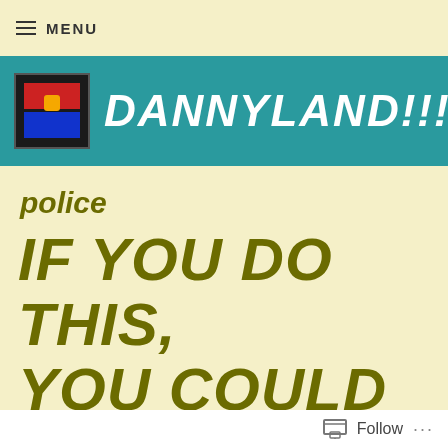≡ MENU
[Figure (logo): DANNYLAND!!!! website banner with teal background, logo icon on left and bold italic white text DANNYLAND!!!!]
police
IF YOU DO THIS, YOU COULD END UP IN JAIL!!
Follow ...